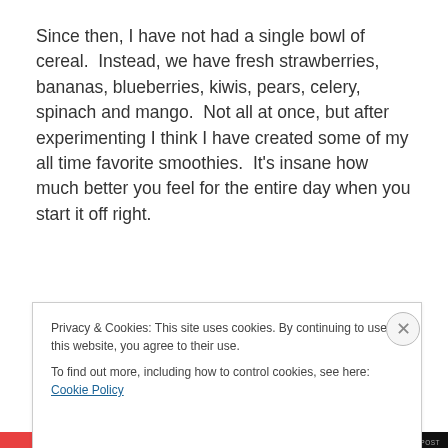Since then, I have not had a single bowl of cereal.  Instead, we have fresh strawberries, bananas, blueberries, kiwis, pears, celery, spinach and mango.  Not all at once, but after experimenting I think I have created some of my all time favorite smoothies.  It's insane how much better you feel for the entire day when you start it off right.
Privacy & Cookies: This site uses cookies. By continuing to use this website, you agree to their use.
To find out more, including how to control cookies, see here: Cookie Policy